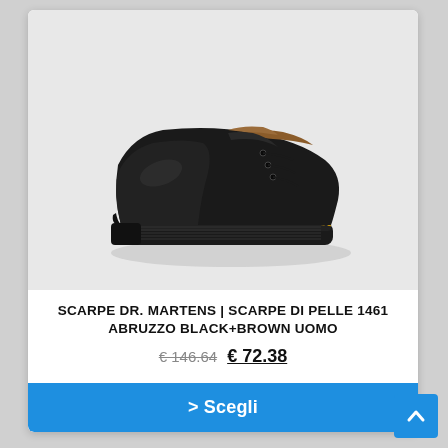[Figure (photo): Dr. Martens black leather oxford shoe (model 1461) with yellow stitching on sole, three eyelet lace-up, shown from left side on light grey background.]
SCARPE DR. MARTENS | SCARPE DI PELLE 1461 ABRUZZO BLACK+BROWN UOMO
€ 146.64  € 72.38
> Scegli